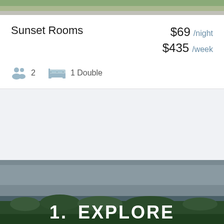[Figure (photo): Top portion of an outdoor scene with grass/greenery visible at the top of the page]
Sunset Rooms
$69 /night
$435 /week
2  1 Double
[Figure (photo): Aerial landscape photo showing a river or lake with green treeline and overcast sky, with text '1. EXPLORE' overlaid at the bottom]